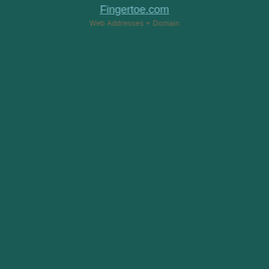Fingertoe.com
Web Addresses + Domain